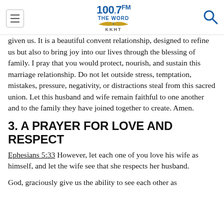100.7 FM THE WORD KKHT
given us. It is a beautiful convent relationship, designed to refine us but also to bring joy into our lives through the blessing of family. I pray that you would protect, nourish, and sustain this marriage relationship. Do not let outside stress, temptation, mistakes, pressure, negativity, or distractions steal from this sacred union. Let this husband and wife remain faithful to one another and to the family they have joined together to create. Amen.
3. A PRAYER FOR LOVE AND RESPECT
Ephesians 5:33 However, let each one of you love his wife as himself, and let the wife see that she respects her husband.
God, graciously give us the ability to see each other as